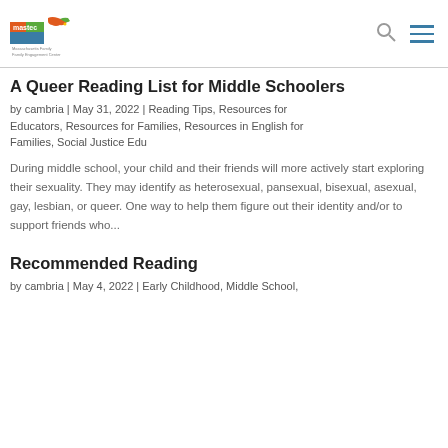MassPEC Family Engagement Center — navigation header with logo, search icon, and menu icon
A Queer Reading List for Middle Schoolers
by cambria | May 31, 2022 | Reading Tips, Resources for Educators, Resources for Families, Resources in English for Families, Social Justice Edu
During middle school, your child and their friends will more actively start exploring their sexuality. They may identify as heterosexual, pansexual, bisexual, asexual, gay, lesbian, or queer. One way to help them figure out their identity and/or to support friends who...
Recommended Reading
by cambria | May 4, 2022 | Early Childhood, Middle School,